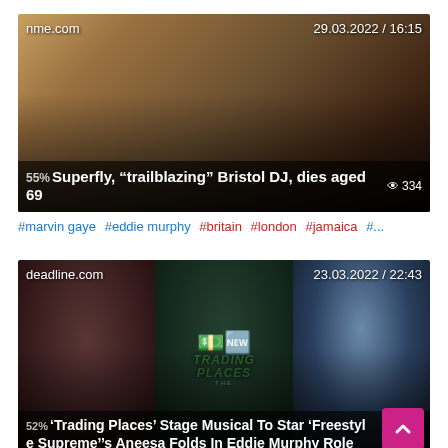[Figure (photo): News article card from nme.com dated 29.03.2022 / 16:15. Photo of a Black man at a sound mixing board with warm vintage tones. Headline: Superfly, "trailblazing" Bristol DJ, dies aged 69. View count: 334. Percentage badge: 55%.]
#marvin gaye #eddie murphy #britain #london #jamaica #...
[Figure (photo): News article card from deadline.com dated 23.03.2022 / 22:43. Three-panel image: left shows a young Black woman, center shows Trading Places movie logo with dollar bills and green bow, right shows a white man in suit. Headline: 'Trading Places' Stage Musical To Star 'Freestyle Supreme's Aneesa Folds In Eddie Murphy Role. Percentage badge: 52%.]
#eddie murphy #dan aykroyd #kenny leon #thomas lennon #...